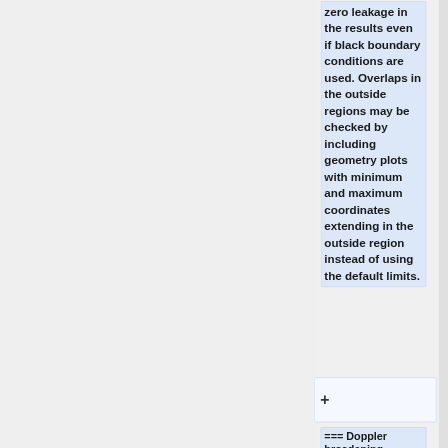zero leakage in the results even if black boundary conditions are used. Overlaps in the outside regions may be checked by including geometry plots with minimum and maximum coordinates extending in the outside region instead of using the default limits.
+
=== Doppler broadening